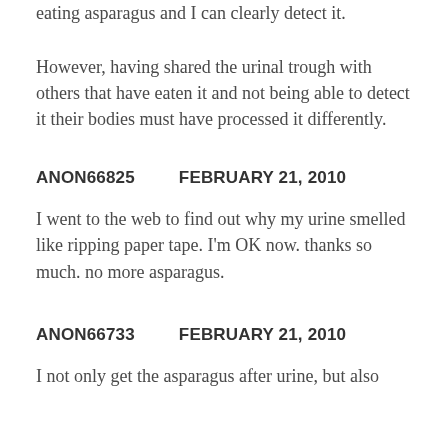eating asparagus and I can clearly detect it.
However, having shared the urinal trough with others that have eaten it and not being able to detect it their bodies must have processed it differently.
ANON66825        FEBRUARY 21, 2010
I went to the web to find out why my urine smelled like ripping paper tape. I'm OK now. thanks so much. no more asparagus.
ANON66733        FEBRUARY 21, 2010
I not only get the asparagus after urine, but also